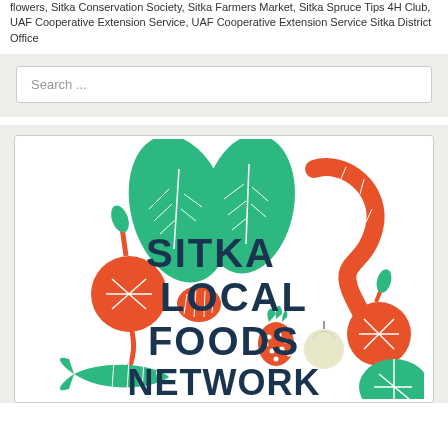flowers, Sitka Conservation Society, Sitka Farmers Market, Sitka Spruce Tips 4H Club, UAF Cooperative Extension Service, UAF Cooperative Extension Service Sitka District Office
Search ...
[Figure (logo): Sitka Local Foods Network logo featuring illustrated vegetables (beets, cabbage leaves, mushroom, garlic, pineapple), a salmon, and a snake/eel, with bold dark blue text reading SITKA LOCAL FOODS NETWORK in green and red/orange color scheme.]